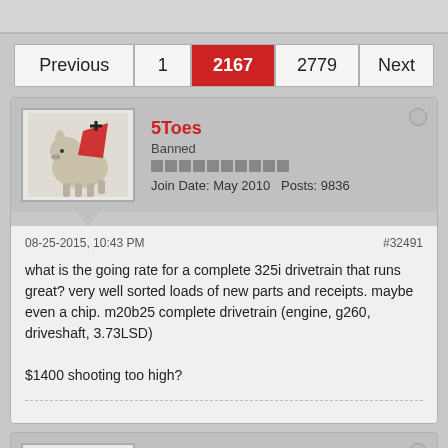Previous | 1 | 2167 | 2779 | Next
5Toes
Banned
Join Date: May 2010  Posts: 9836
08-25-2015, 10:43 PM  #32491
what is the going rate for a complete 325i drivetrain that runs great? very well sorted loads of new parts and receipts. maybe even a chip. m20b25 complete drivetrain (engine, g260, driveshaft, 3.73LSD)

$1400 shooting too high?
delamaize
E30 Fanatic
Join Date: Nov 2013  Posts: 1416